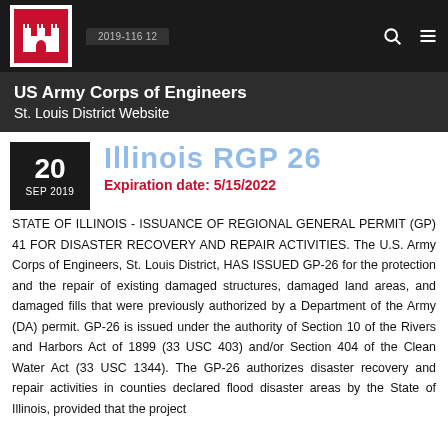[Figure (logo): US Army Corps of Engineers castle logo in red and white on dark navigation bar]
US Army Corps of Engineers
St. Louis District Website
Illinois RGP 26
Expiration date: 5/15/2022
20
SEP 2019
STATE OF ILLINOIS - ISSUANCE OF REGIONAL GENERAL PERMIT (GP) 41 FOR DISASTER RECOVERY AND REPAIR ACTIVITIES. The U.S. Army Corps of Engineers, St. Louis District, HAS ISSUED GP-26 for the protection and the repair of existing damaged structures, damaged land areas, and damaged fills that were previously authorized by a Department of the Army (DA) permit. GP-26 is issued under the authority of Section 10 of the Rivers and Harbors Act of 1899 (33 USC 403) and/or Section 404 of the Clean Water Act (33 USC 1344). The GP-26 authorizes disaster recovery and repair activities in counties declared flood disaster areas by the State of Illinois, provided that the project